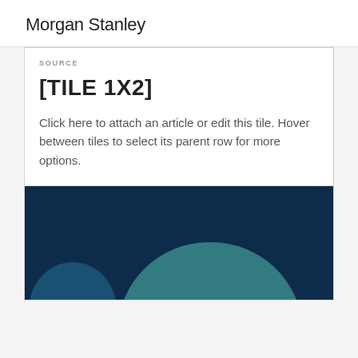Morgan Stanley
SOURCE
[TILE 1X2]
Click here to attach an article or edit this tile. Hover between tiles to select its parent row for more options.
[Figure (illustration): Dark navy blue background with a teal/muted teal abstract circular/dome shape visible at the bottom of the card area.]